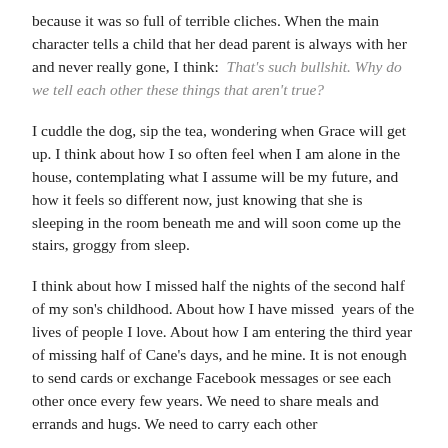because it was so full of terrible cliches. When the main character tells a child that her dead parent is always with her and never really gone, I think:  That's such bullshit. Why do we tell each other these things that aren't true?
I cuddle the dog, sip the tea, wondering when Grace will get up. I think about how I so often feel when I am alone in the house, contemplating what I assume will be my future, and how it feels so different now, just knowing that she is sleeping in the room beneath me and will soon come up the stairs, groggy from sleep.
I think about how I missed half the nights of the second half of my son's childhood. About how I have missed  years of the lives of people I love. About how I am entering the third year of missing half of Cane's days, and he mine. It is not enough to send cards or exchange Facebook messages or see each other once every few years. We need to share meals and errands and hugs. We need to carry each other